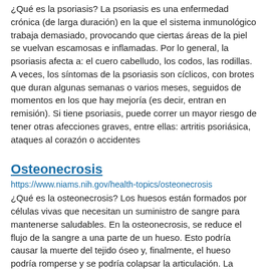¿Qué es la psoriasis? La psoriasis es una enfermedad crónica (de larga duración) en la que el sistema inmunológico trabaja demasiado, provocando que ciertas áreas de la piel se vuelvan escamosas e inflamadas. Por lo general, la psoriasis afecta a: el cuero cabelludo, los codos, las rodillas. A veces, los síntomas de la psoriasis son cíclicos, con brotes que duran algunas semanas o varios meses, seguidos de momentos en los que hay mejoría (es decir, entran en remisión). Si tiene psoriasis, puede correr un mayor riesgo de tener otras afecciones graves, entre ellas: artritis psoriásica, ataques al corazón o accidentes
Osteonecrosis
https://www.niams.nih.gov/health-topics/osteonecrosis
¿Qué es la osteonecrosis? Los huesos están formados por células vivas que necesitan un suministro de sangre para mantenerse saludables. En la osteonecrosis, se reduce el flujo de la sangre a una parte de un hueso. Esto podría causar la muerte del tejido óseo y, finalmente, el hueso podría romperse y se podría colapsar la articulación. La osteonecrosis puede afectar a cualquier hueso, pero la mayoría de las veces se desarrolla en los extremos de los huesos largos, como: hueso superior de la pierna (fémur), hueso superior del brazo (húmero). Con menos frecuencia se ven afectados los huesos de los